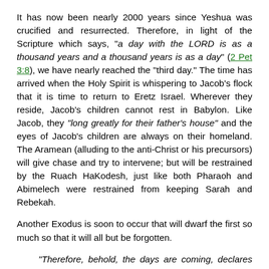It has now been nearly 2000 years since Yeshua was crucified and resurrected. Therefore, in light of the Scripture which says, "a day with the LORD is as a thousand years and a thousand years is as a day" (2 Pet 3:8), we have nearly reached the "third day." The time has arrived when the Holy Spirit is whispering to Jacob's flock that it is time to return to Eretz Israel. Wherever they reside, Jacob's children cannot rest in Babylon. Like Jacob, they "long greatly for their father's house" and the eyes of Jacob's children are always on their homeland. The Aramean (alluding to the anti-Christ or his precursors) will give chase and try to intervene; but will be restrained by the Ruach HaKodesh, just like both Pharaoh and Abimelech were restrained from keeping Sarah and Rebekah.
Another Exodus is soon to occur that will dwarf the first so much so that it will all but be forgotten.
“Therefore, behold, the days are coming, declares the LORD, when it shall no longer be said, 'As the LORD lives who brought